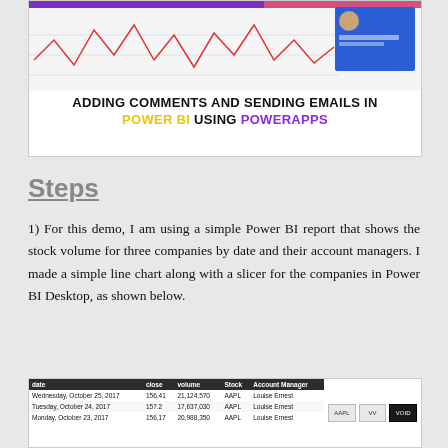[Figure (screenshot): Banner screenshot showing a Power BI line chart visualization with title: ADDING COMMENTS AND SENDING EMAILS IN POWER BI USING POWERAPPS]
Steps
1) For this demo, I am using a simple Power BI report that shows the stock volume for three companies by date and their account managers. I made a simple line chart along with a slicer for the companies in Power BI Desktop, as shown below.
[Figure (screenshot): Screenshot of a Power BI data table showing columns: date, close, volume, Stock, Account Manager with rows for Wednesday October 25 2017, Tuesday October 24 2017, Monday October 23 2017, and AAPL stock entries with account manager Louise Ernest]